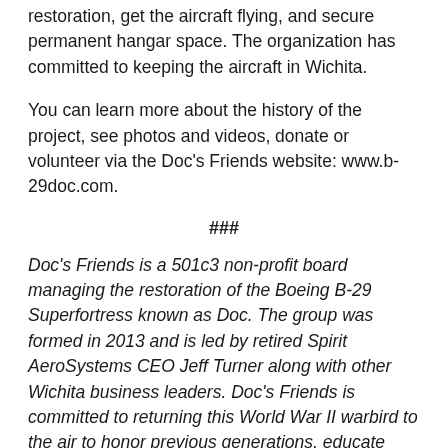restoration, get the aircraft flying, and secure permanent hangar space. The organization has committed to keeping the aircraft in Wichita.
You can learn more about the history of the project, see photos and videos, donate or volunteer via the Doc's Friends website: www.b-29doc.com.
###
Doc's Friends is a 501c3 non-profit board managing the restoration of the Boeing B-29 Superfortress known as Doc. The group was formed in 2013 and is led by retired Spirit AeroSystems CEO Jeff Turner along with other Wichita business leaders. Doc's Friends is committed to returning this World War II warbird to the air to honor previous generations, educate current and future generations and connect the world to the rich heritage of aviation. You can find more information about Doc's Friends at www.b-29doc.com.